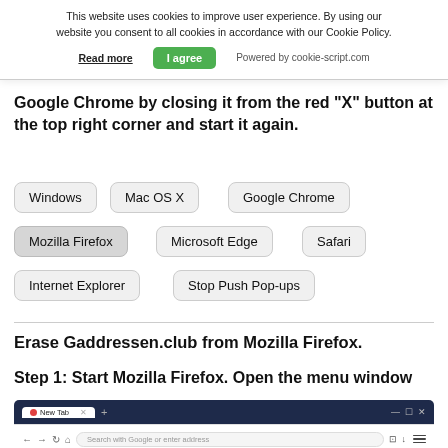This website uses cookies to improve user experience. By using our website you consent to all cookies in accordance with our Cookie Policy.
Read more   I agree   Powered by cookie-script.com
Google Chrome by closing it from the red "X" button at the top right corner and start it again.
Windows
Mac OS X
Google Chrome
Mozilla Firefox
Microsoft Edge
Safari
Internet Explorer
Stop Push Pop-ups
Erase Gaddressen.club from Mozilla Firefox.
Step 1: Start Mozilla Firefox. Open the menu window
[Figure (screenshot): Mozilla Firefox browser window with New Tab open, showing address bar with 'Search with Google or enter address' placeholder and browser controls.]